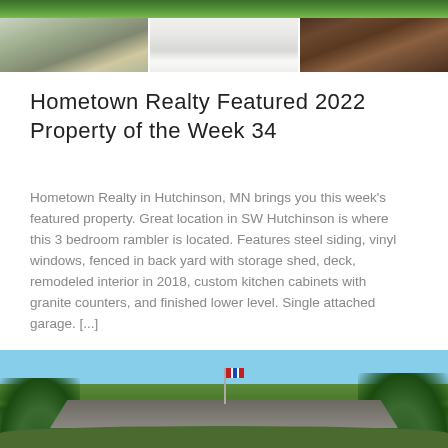[Figure (photo): A collage of three property photos: exterior siding view, bright interior room, and dark wood cabinet interior, with green grass/lawn at the top strip.]
Hometown Realty Featured 2022 Property of the Week 34
Hometown Realty in Hutchinson, MN brings you this week's featured property. Great location in SW Hutchinson is where this 3 bedroom rambler is located. Features steel siding, vinyl windows, fenced in back yard with storage shed, deck, remodeled interior in 2018, custom kitchen cabinets with granite counters, and finished lower level. Single attached garage. [...]
[Figure (photo): Exterior photo of a single-story house with a gray/brown roof, a flagpole with an American flag, green trees in the background, and a blue sky.]